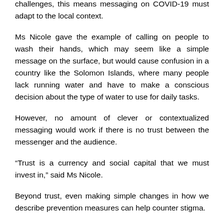challenges, this means messaging on COVID-19 must adapt to the local context.
Ms Nicole gave the example of calling on people to wash their hands, which may seem like a simple message on the surface, but would cause confusion in a country like the Solomon Islands, where many people lack running water and have to make a conscious decision about the type of water to use for daily tasks.
However, no amount of clever or contextualized messaging would work if there is no trust between the messenger and the audience.
“Trust is a currency and social capital that we must invest in,” said Ms Nicole.
Beyond trust, even making simple changes in how we describe prevention measures can help counter stigma.
WHO’s Dr Bezbaruah recommends replacing the term “social distancing” with “physical distancing” and “social connectedness”.
These terms underscore the need to respect prevention measures but also highlight the importance of maintaining close social links